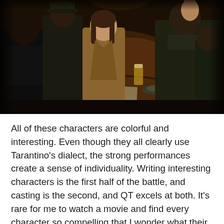[Figure (photo): A dark, moody scene of several people in military uniforms seated around a table in a dimly lit bar or restaurant. A woman in a tan jacket is visible in the center, with uniformed figures around her. Beer glasses and papers are on the table. The atmosphere is tense and cinematic, appearing to be from the film Inglourious Basterds.]
All of these characters are colorful and interesting. Even though they all clearly use Tarantino's dialect, the strong performances create a sense of individuality. Writing interesting characters is the first half of the battle, and casting is the second, and QT excels at both. It's rare for me to watch a movie and find every character so compelling that I wonder what their own 80-minute movie would be like. It's a testament to the talents of the performers, as well as Tarantino's writing and direction of the actors. If you leave the